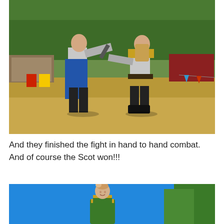[Figure (photo): Two men in medieval knight armor fighting hand to hand combat on a dry grass field at an outdoor Renaissance fair. One wears blue cloth over armor, the other wears gold and silver armor. Colorful bunting flags hang in the background along with trees and fair buildings.]
And they finished the fight in hand to hand combat.  And of course the Scot won!!!
[Figure (photo): A woman in a green medieval Renaissance costume stands smiling in front of a bright blue sky with trees visible at the edge.]